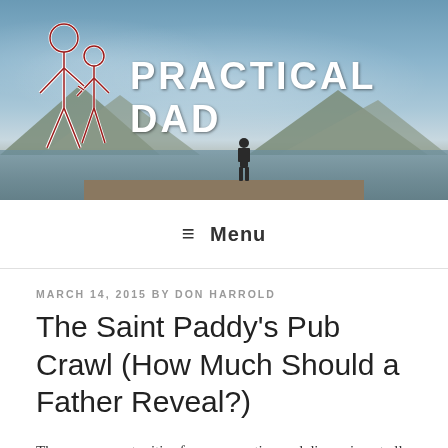[Figure (photo): Header banner of Practical Dad blog showing a lake/waterfront scene with mountains in background, a dock, and a silhouette of a person standing. White outlined logo of adult and child figures on the left side. Site title 'PRACTICAL DAD' in large white bold text.]
≡ Menu
MARCH 14, 2015 BY DON HARROLD
The Saint Paddy's Pub Crawl (How Much Should a Father Reveal?)
There are opportunities for conversation and discussion at all corners, and the other morning was a prime example of such.  Middle had to attend a theatre audition at an urban university and we took the opportunity to take the train since, if he does attend there, it will be the standard